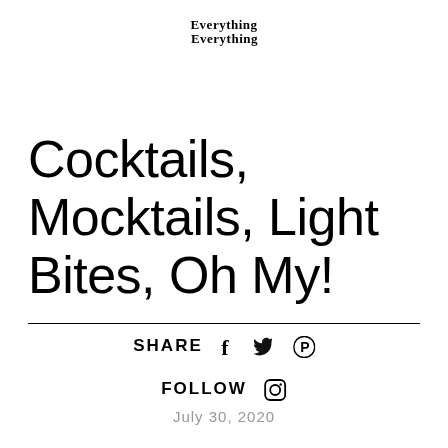[Figure (logo): Everything Everything logo — top text normal, bottom text mirrored/upside-down]
Cocktails, Mocktails, Light Bites, Oh My!
SHARE  f  🐦  ⓟ
FOLLOW  📷
July 30, 2020